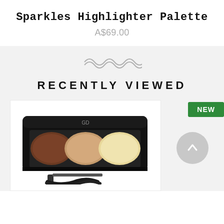Sparkles Highlighter Palette
A$69.00
RECENTLY VIEWED
[Figure (photo): A makeup palette with three circular pans (dark brown, medium brown, and light yellow) in a black rectangular compact with a GD logo, with a brush visible at the bottom.]
[Figure (other): Green NEW badge label and a grey circular up-arrow scroll button on the right side panel.]